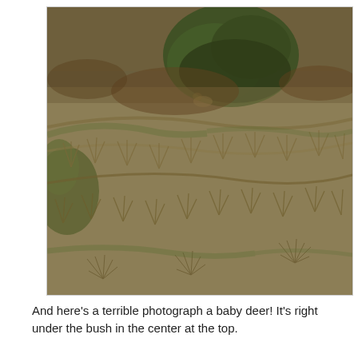[Figure (photo): A blurry outdoor photograph of a hillside covered with dry brown and green grass, shrubs, and brush. A dark green bush is visible near the top center of the image. A baby deer is reportedly hidden under the bush in the center at the top, though it is very hard to see due to the camouflage.]
And here's a terrible photograph a baby deer! It's right under the bush in the center at the top.